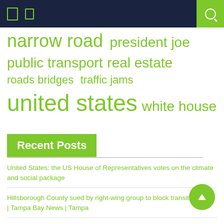Navigation bar with icons and search
narrow road  president joe
public transport  real estate
roads bridges  traffic jams
united states  white house
Recent Posts
United States: the US House of Representatives votes on the climate and social package
Hillsborough County sued by right-wing group to block transit tax vote | Tampa Bay News | Tampa
Valley race key to California Democrats' drive to keep majority at home – Reuters